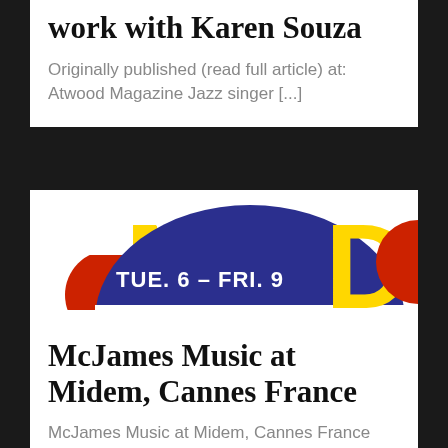work with Karen Souza
Originally published (read full article) at: Atwood Magazine Jazz singer [...]
[Figure (photo): Midem festival banner with yellow letters on dark blue semicircle, TUE. 6 – FRI. 9 text, red circle on right, yellow letters on left]
McJames Music at Midem, Cannes France
McJames Music at Midem, Cannes France and signs a new sub-publishing [...]